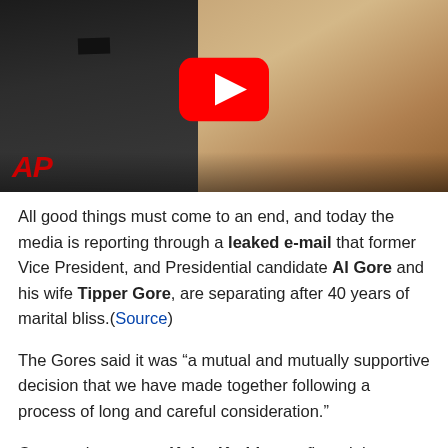[Figure (screenshot): YouTube video thumbnail showing two people (a man in a tuxedo and a woman) with a YouTube play button overlay and AP logo in the lower left corner]
All good things must come to an end, and today the media is reporting through a leaked e-mail that former Vice President, and Presidential candidate Al Gore and his wife Tipper Gore, are separating after 40 years of marital bliss.(Source)
The Gores said it was “a mutual and mutually supportive decision that we have made together following a process of long and careful consideration.”
Gore spokeswoman Kalee Kreider confirmed the